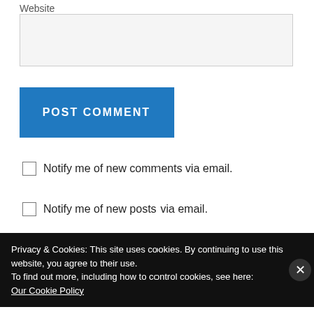Website
[input box]
POST COMMENT
Notify me of new comments via email.
Notify me of new posts via email.
This site uses Akismet to reduce spam. Learn how your comment data is processed.
Privacy & Cookies: This site uses cookies. By continuing to use this website, you agree to their use.
To find out more, including how to control cookies, see here:
Our Cookie Policy
Close and accept